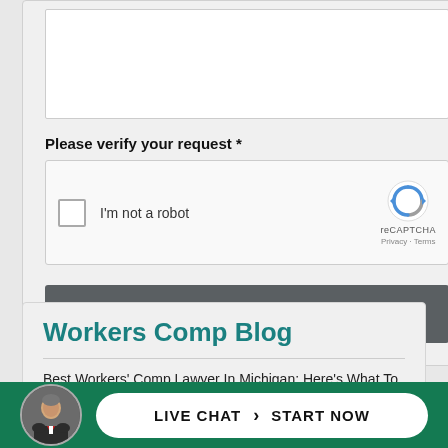[Figure (screenshot): Textarea input box (empty) at top of a web form]
Please verify your request *
[Figure (screenshot): reCAPTCHA widget with checkbox labeled 'I'm not a robot' and Google reCAPTCHA logo with Privacy and Terms links]
[Figure (screenshot): SUBMIT button in dark gray with light uppercase text]
Workers Comp Blog
Best Workers' Comp Lawyer In Michigan: Here's What To Look For
[Figure (screenshot): Live chat bar at bottom: man in suit avatar, white pill-shaped button with 'LIVE CHAT > START NOW' on green background]